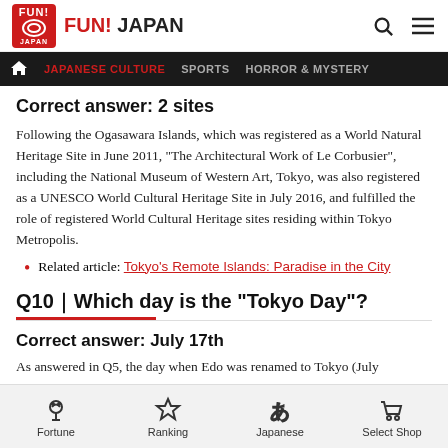FUN! JAPAN
JAPANESE CULTURE | SPORTS | HORROR & MYSTERY
Correct answer: 2 sites
Following the Ogasawara Islands, which was registered as a World Natural Heritage Site in June 2011, "The Architectural Work of Le Corbusier", including the National Museum of Western Art, Tokyo, was also registered as a UNESCO World Cultural Heritage Site in July 2016, and fulfilled the role of registered World Cultural Heritage sites residing within Tokyo Metropolis.
Related article: Tokyo's Remote Islands: Paradise in the City
Q10｜Which day is the "Tokyo Day"?
Correct answer: July 17th
As answered in Q5, the day when Edo was renamed to Tokyo (July
Fortune | Ranking | Japanese | Select Shop